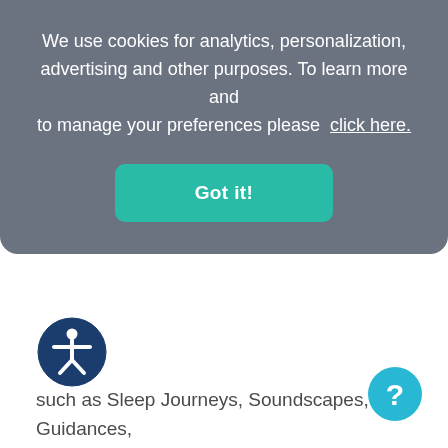We use cookies for analytics, personalization, advertising and other purposes. To learn more and to manage your preferences please click here.
Got it!
such as Sleep Journeys, Soundscapes, Guidances, and Tracking Only.
[Figure (illustration): Accessibility icon: dark blue circle with a white human figure with arms outstretched]
[Figure (illustration): Help/chat icon: light blue speech bubble circle with a white question mark]